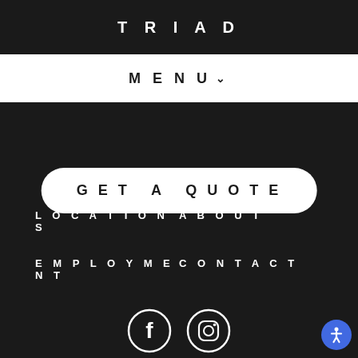TRIAD
MENU ∨
GET A QUOTE
LOCATIONS
ABOUT
EMPLOYMENT
CONTACT
[Figure (illustration): Facebook and Instagram social media icons (white circle outlines on dark background), and a blue accessibility button in the bottom right corner]